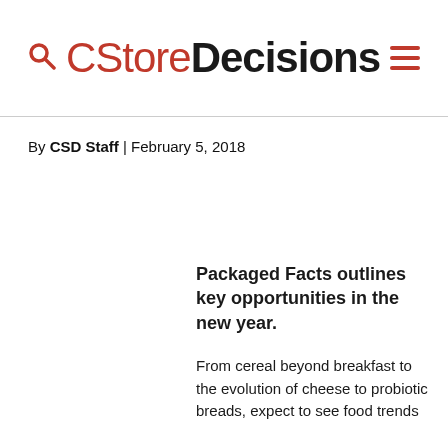CStoreDecisions
By CSD Staff | February 5, 2018
Packaged Facts outlines key opportunities in the new year.
From cereal beyond breakfast to the evolution of cheese to probiotic breads, expect to see food trends